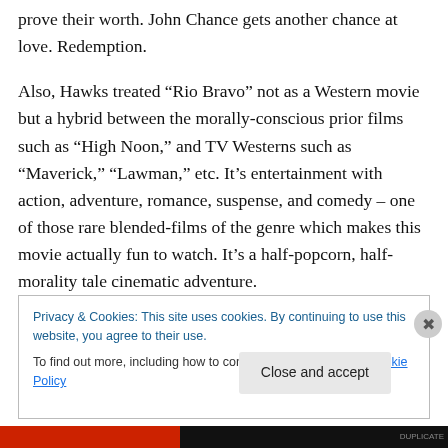prove their worth. John Chance gets another chance at love. Redemption.
Also, Hawks treated “Rio Bravo” not as a Western movie but a hybrid between the morally-conscious prior films such as “High Noon,” and TV Westerns such as “Maverick,” “Lawman,” etc. It’s entertainment with action, adventure, romance, suspense, and comedy – one of those rare blended-films of the genre which makes this movie actually fun to watch. It’s a half-popcorn, half-morality tale cinematic adventure.
Privacy & Cookies: This site uses cookies. By continuing to use this website, you agree to their use.
To find out more, including how to control cookies, see here: Cookie Policy